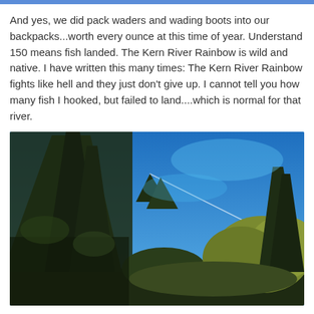And yes, we did pack waders and wading boots into our backpacks...worth every ounce at this time of year. Understand 150 means fish landed. The Kern River Rainbow is wild and native. I have written this many times: The Kern River Rainbow fights like hell and they just don't give up. I cannot tell you how many fish I hooked, but failed to land....which is normal for that river.
[Figure (photo): Outdoor photograph looking upward through tall pine/conifer trees toward a bright blue sky. Trees frame the left side and background. Lighter-colored leafy trees visible on the right. A faint contrail streak crosses the blue sky. Hillside forest landscape consistent with the Kern River area in California.]